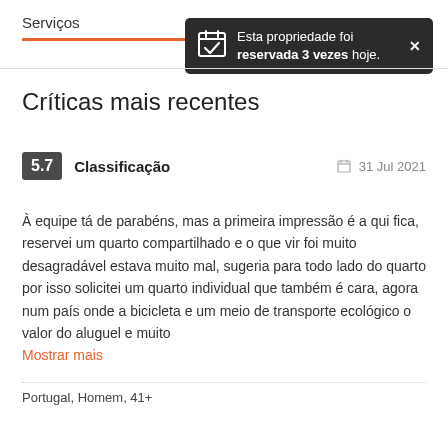Serviços
[Figure (infographic): Dark tooltip notification: 'Esta propriedade foi reservada 3 vezes hoje.' with calendar icon and close (X) button]
Críticas mais recentes
5.7  Classificação    31 Jul 2021
À equipe tá de parabéns, mas a primeira impressão é a qui fica, reservei um quarto compartilhado e o que vir foi muito desagradável estava muito mal, sugeria para todo lado do quarto por isso solicitei um quarto individual que também é cara, agora num país onde a bicicleta e um meio de transporte ecológico o valor do aluguel e muito
Mostrar mais
Portugal, Homem, 41+